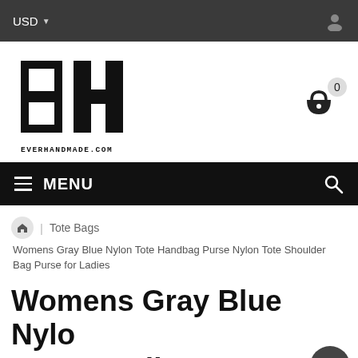USD
[Figure (logo): EverHandmade.com logo — stylized E and H letters in black and white block design, with text EVERHANDMADE.COM below]
Tote Bags
Womens Gray Blue Nylon Tote Handbag Purse Nylon Tote Shoulder Bag Purse for Ladies
Womens Gray Blue Nylon Tote Handbag Purse